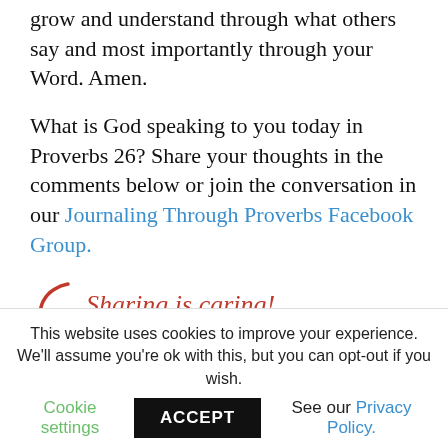grow and understand through what others say and most importantly through your Word. Amen.
What is God speaking to you today in Proverbs 26? Share your thoughts in the comments below or join the conversation in our Journaling Through Proverbs Facebook Group.
[Figure (infographic): Sharing is caring! label with red arrow and six social media share buttons: Facebook, Twitter, Pinterest, LinkedIn, Email, and More Options (green)]
This website uses cookies to improve your experience. We'll assume you're ok with this, but you can opt-out if you wish. Cookie settings  ACCEPT  See our Privacy Policy.